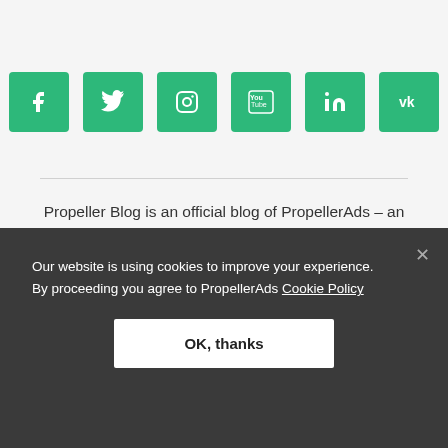[Figure (other): Six green social media icon buttons: Facebook, Twitter, Instagram, YouTube, LinkedIn, VK]
Propeller Blog is an official blog of PropellerAds – an AdTech company that helps affiliates and advertisers around the globe find the right audience. By the way, we also help publishers – with Propeller you can monetize your
Our website is using cookies to improve your experience. By proceeding you agree to PropellerAds Cookie Policy
OK, thanks